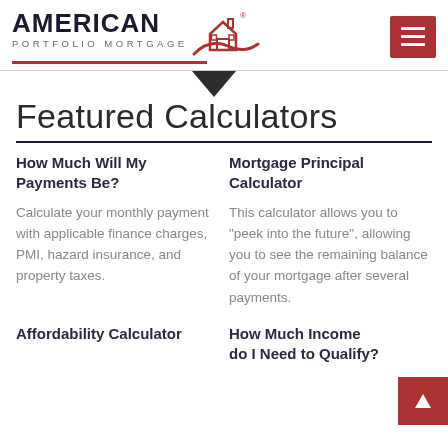[Figure (logo): American Portfolio Mortgage logo with house icon and red swoosh]
Featured Calculators
How Much Will My Payments Be?
Calculate your monthly payment with applicable finance charges, PMI, hazard insurance, and property taxes.
Mortgage Principal Calculator
This calculator allows you to "peek into the future", allowing you to see the remaining balance of your mortgage after several payments.
Affordability Calculator
How Much Income do I Need to Qualify?